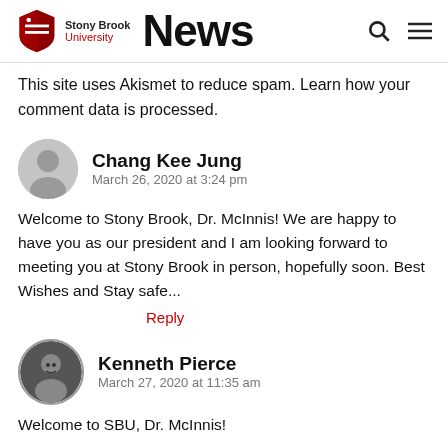Stony Brook University News
This site uses Akismet to reduce spam. Learn how your comment data is processed.
Chang Kee Jung
March 26, 2020 at 3:24 pm
Welcome to Stony Brook, Dr. McInnis! We are happy to have you as our president and I am looking forward to meeting you at Stony Brook in person, hopefully soon. Best Wishes and Stay safe...
Reply
Kenneth Pierce
March 27, 2020 at 11:35 am
Welcome to SBU, Dr. McInnis!